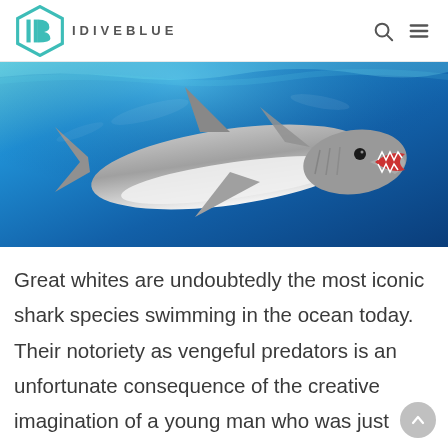IDIVEBLUE
[Figure (photo): Underwater photograph of a great white shark swimming in blue ocean water, viewed from slightly below and to the side, showing its full body with open mouth revealing teeth.]
Great whites are undoubtedly the most iconic shark species swimming in the ocean today. Their notoriety as vengeful predators is an unfortunate consequence of the creative imagination of a young man who was just trying to feed his family by writing a book.